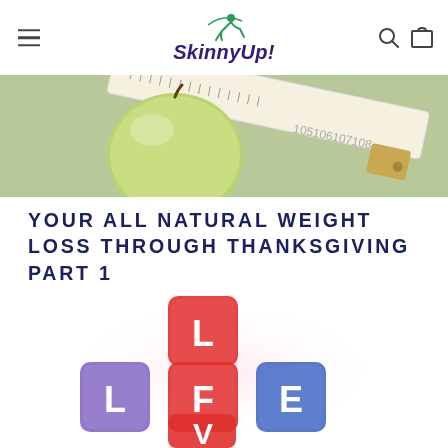SkinnyUp!
[Figure (photo): Close-up photo of a green apple and a measuring tape on a textured surface]
YOUR ALL NATURAL WEIGHT LOSS THROUGH THANKSGIVING PART 1
[Figure (photo): Colorful letter cubes spelling LIFE and LOVE in a crossword-like arrangement. Cubes are red, purple, blue, and translucent.]